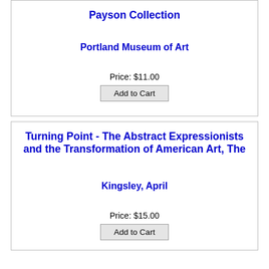Payson Collection
Portland Museum of Art
Price: $11.00
Add to Cart
Turning Point - The Abstract Expressionists and the Transformation of American Art, The
Kingsley, April
Price: $15.00
Add to Cart